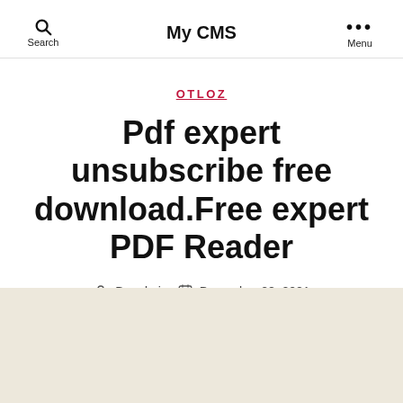Search | My CMS | Menu
OTLOZ
Pdf expert unsubscribe free download.Free expert PDF Reader
By admin  December 28, 2021